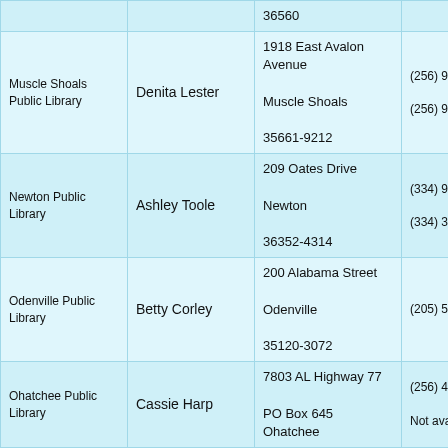| Library | Contact | Address | Phone |
| --- | --- | --- | --- |
|  |  | 36560 |  |
| Muscle Shoals Public Library | Denita Lester | 1918 East Avalon Avenue
Muscle Shoals
35661-9212 | (256) 9212
(256) 9211 |
| Newton Public Library | Ashley Toole | 209 Oates Drive
Newton
36352-4314 | (334) 9700
(334) 3174 |
| Odenville Public Library | Betty Corley | 200 Alabama Street
Odenville
35120-3072 | (205) 5901 |
| Ohatchee Public Library | Cassie Harp | 7803 AL Highway 77
PO Box 645
Ohatchee | (256) 4203
Not availab |